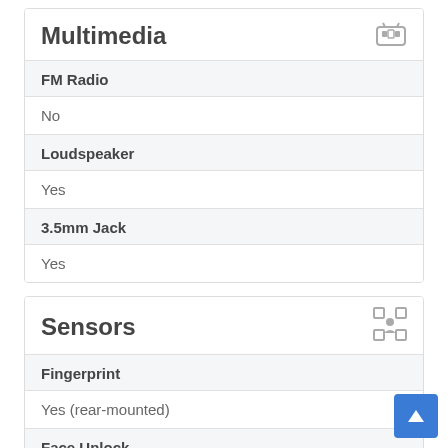Multimedia
| FM Radio | No |
| Loudspeaker | Yes |
| 3.5mm Jack | Yes |
Sensors
| Fingerprint | Yes (rear-mounted) |
| Face Unlock |  |